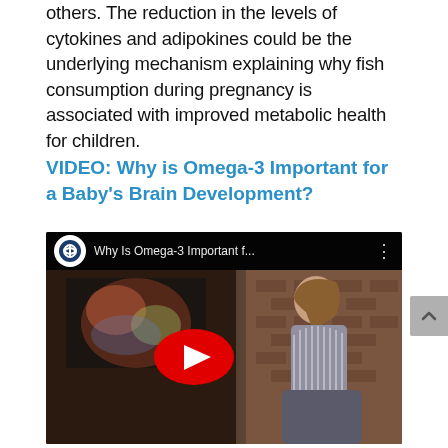others. The reduction in the levels of cytokines and adipokines could be the underlying mechanism explaining why fish consumption during pregnancy is associated with improved metabolic health for children.
VIDEO: Why is Omega-3 Important for a Baby's Brain Development?
[Figure (screenshot): Embedded YouTube video thumbnail showing a woman seated in front of a fireplace with brick background. Video title reads 'Why Is Omega-3 Important f...' with a red YouTube play button overlay and a logo icon in the top left.]